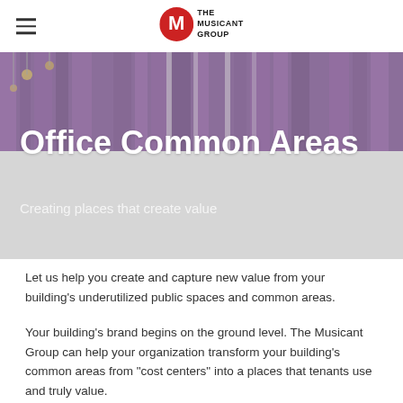The Musicant Group
[Figure (photo): Interior photo of an event space with purple curtains, hanging light fixtures, and decorative elements]
Office Common Areas
Creating places that create value
Let us help you create and capture new value from your building's underutilized public spaces and common areas.
Your building's brand begins on the ground level. The Musicant Group can help your organization transform your building's common areas from "cost centers" into a places that tenants use and truly value.